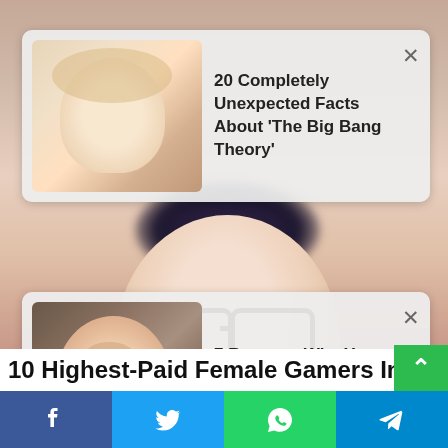[Figure (photo): Background photo of woman with glasses, dark hair upswept, red lipstick, pearl necklace, blurred bokeh background]
[Figure (infographic): Recommended article card 1: thumbnail of blonde woman in pink top with text '20 Completely Unexpected Facts About The Big Bang Theory' and X close button]
[Figure (infographic): Recommended article card 2: thumbnail of woman with hand on forehead with text '7 Reasons Why You Don't Get Your Work Done On Schedule' and X close button]
10 Highest-Paid Female Gamers In The World
[Figure (infographic): Social share bar with Facebook, Twitter, WhatsApp, and Telegram buttons]